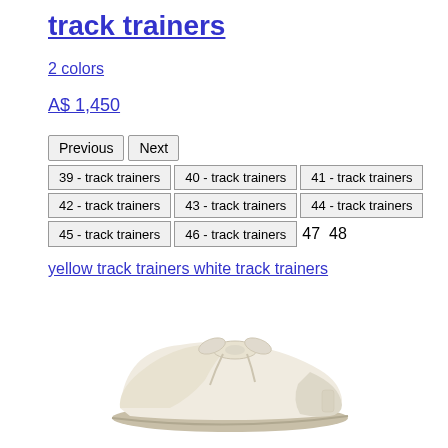track trainers
2 colors
A$ 1,450
| Previous | Next |  |
| 39 - track trainers | 40 - track trainers | 41 - track trainers |
| 42 - track trainers | 43 - track trainers | 44 - track trainers |
| 45 - track trainers | 46 - track trainers | 47  48 |
yellow track trainers white track trainers
[Figure (photo): White/cream coloured track trainer shoe, side view, slip-on style with tied laces at top, light background]